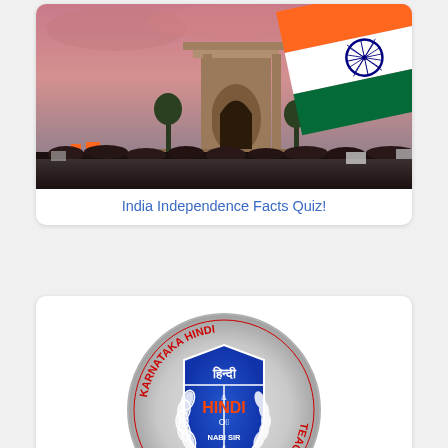[Figure (photo): India Gate monument with Indian national tricolor flag waving in foreground and a large crowd gathered below, pink/dramatic sky in background.]
India Independence Facts Quiz!
[Figure (logo): Karnataka Hindi Teachers Website circular logo with blue shield bearing 'HINDI' text, laurel wreath, and text 'KARNATAKA HINDI TEACHERS WEBSITE' around the rim, with 'NABI SIR & TEAM' at bottom. Hindi text 'हिन्दी' at top of shield.]
Karnataka State SSLC Third Language Hindi Quiz - Koshish Ek